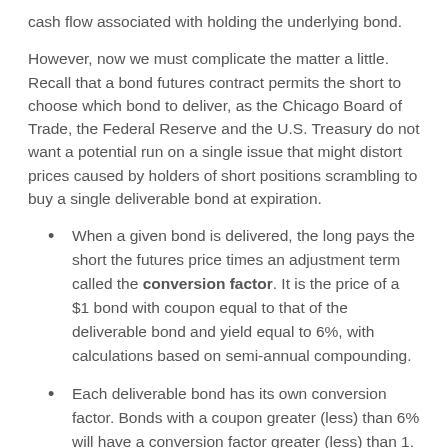cash flow associated with holding the underlying bond.
However, now we must complicate the matter a little. Recall that a bond futures contract permits the short to choose which bond to deliver, as the Chicago Board of Trade, the Federal Reserve and the U.S. Treasury do not want a potential run on a single issue that might distort prices caused by holders of short positions scrambling to buy a single deliverable bond at expiration.
When a given bond is delivered, the long pays the short the futures price times an adjustment term called the conversion factor. It is the price of a $1 bond with coupon equal to that of the deliverable bond and yield equal to 6%, with calculations based on semi-annual compounding.
Each deliverable bond has its own conversion factor. Bonds with a coupon greater (less) than 6% will have a conversion factor greater (less) than 1.
When making the delivery decision, the short